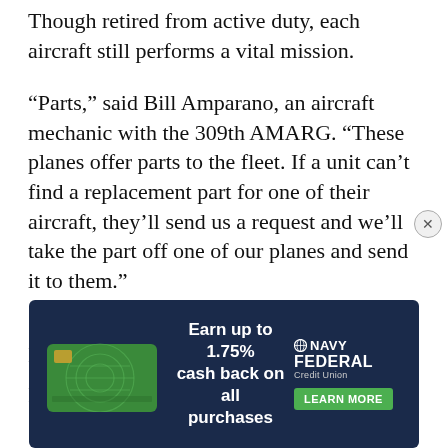Though retired from active duty, each aircraft still performs a vital mission.
“Parts,” said Bill Amparano, an aircraft mechanic with the 309th AMARG. “These planes offer parts to the fleet. If a unit can’t find a replacement part for one of their aircraft, they’ll send us a request and we’ll take the part off one of our planes and send it to them.”
In other words, the AMARG is like a giant “pick-and-pull” for the Air Fo...
[Figure (other): Navy Federal Credit Union advertisement overlay. Dark navy background with an image of a green credit card, text reading 'Earn up to 1.75% cash back on all purchases', Navy Federal Credit Union logo, and a 'LEARN MORE' button. A close (x) button appears at the right.]